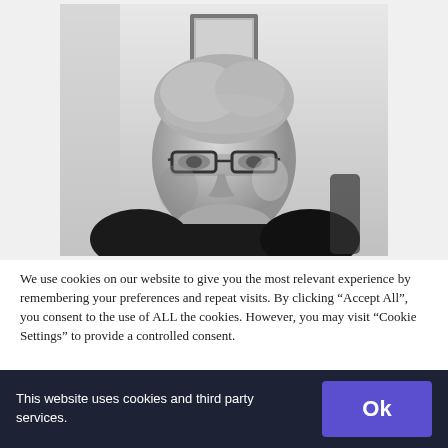[Figure (photo): Black and white portrait photograph of a middle-aged man with glasses, short grey hair, wearing a dark shirt, seated and looking slightly to the side.]
We use cookies on our website to give you the most relevant experience by remembering your preferences and repeat visits. By clicking “Accept All”, you consent to the use of ALL the cookies. However, you may visit "Cookie Settings" to provide a controlled consent.
This website uses cookies and third party services.